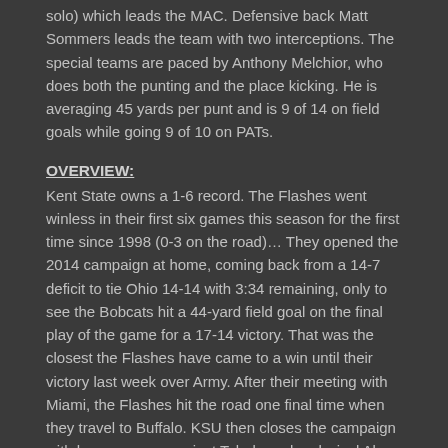solo) which leads the MAC. Defensive back Matt Sommers leads the team with two interceptions. The special teams are paced by Anthony Melchior, who does both the punting and the place kicking. He is averaging 45 yards per punt and is 9 of 14 on field goals while going 9 of 10 on PATs.
OVERVIEW:
Kent State owns a 1-6 record. The Flashes went winless in their first six games this season for the first time since 1998 (0-3 on the road)… They opened the 2014 campaign at home, coming back from a 14-7 deficit to tie Ohio 14-14 with 3:34 remaining, only to see the Bobcats hit a 44-yard field goal on the final play of the game for a 17-14 victory. That was the closest the Flashes have came to a win until their victory last week over Army. After their meeting with Miami, the Flashes hit the road one final time when they travel to Buffalo. KSU then closes the campaign with home games against Toledo and arch-rival Akron
NOTES:
For the third consecutive week, KSU had season-best in both total yards (467) and season high mark in points (39)…The 360 yards passing were the